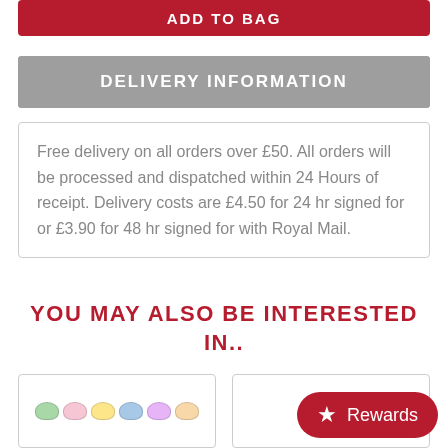ADD TO BAG
DELIVERY INFORMATION
Free delivery on all orders over £50. All orders will be processed and dispatched within 24 Hours of receipt. Delivery costs are £4.50 for 24 hr signed for or £3.90 for 48 hr signed for with Royal Mail.
YOU MAY ALSO BE INTERESTED IN..
[Figure (photo): Product card showing colorful tubs/containers]
[Figure (photo): Product card (partially visible) with Rewards button overlay]
Rewards